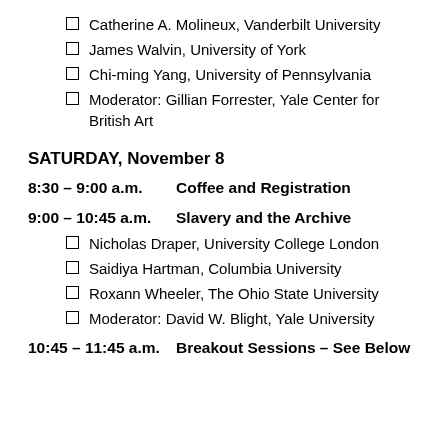Catherine A. Molineux, Vanderbilt University
James Walvin, University of York
Chi-ming Yang, University of Pennsylvania
Moderator: Gillian Forrester, Yale Center for British Art
SATURDAY, November 8
8:30 – 9:00 a.m.    Coffee and Registration
9:00 – 10:45 a.m.    Slavery and the Archive
Nicholas Draper, University College London
Saidiya Hartman, Columbia University
Roxann Wheeler, The Ohio State University
Moderator: David W. Blight, Yale University
10:45 – 11:45 a.m.    Breakout Sessions – See Below